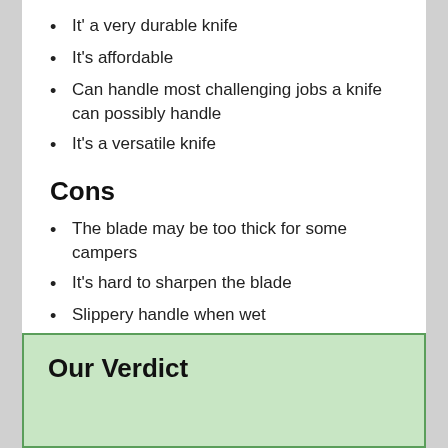It' a very durable knife
It's affordable
Can handle most challenging jobs a knife can possibly handle
It's a versatile knife
Cons
The blade may be too thick for some campers
It's hard to sharpen the blade
Slippery handle when wet
Our Verdict